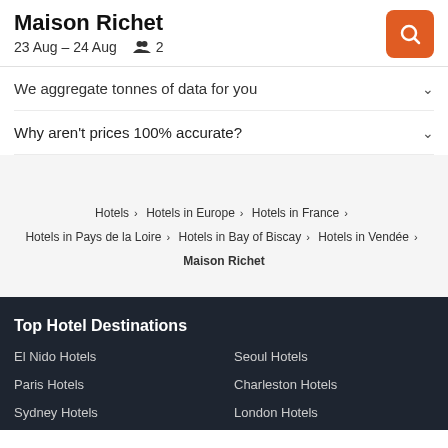Maison Richet
23 Aug – 24 Aug  2
We aggregate tonnes of data for you
Why aren't prices 100% accurate?
Hotels > Hotels in Europe > Hotels in France > Hotels in Pays de la Loire > Hotels in Bay of Biscay > Hotels in Vendée > Maison Richet
Top Hotel Destinations
El Nido Hotels
Seoul Hotels
Paris Hotels
Charleston Hotels
Sydney Hotels
London Hotels